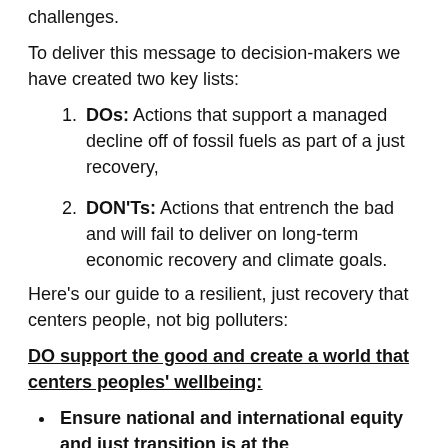challenges.
To deliver this message to decision-makers we have created two key lists:
DOs: Actions that support a managed decline off of fossil fuels as part of a just recovery,
DON'Ts: Actions that entrench the bad and will fail to deliver on long-term economic recovery and climate goals.
Here’s our guide to a resilient, just recovery that centers people, not big polluters:
DO support the good and create a world that centers peoples’ wellbeing:
Ensure national and international equity and just transition is at the